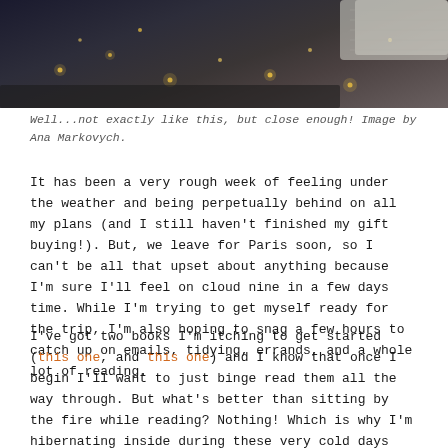[Figure (photo): Dark moody photograph showing fairy lights and what appears to be a cozy winter scene with dark textured background, partial view of a white knit sweater in upper right corner]
Well...not exactly like this, but close enough! Image by Ana Markovych.
It has been a very rough week of feeling under the weather and being perpetually behind on all my plans (and I still haven't finished my gift buying!). But, we leave for Paris soon, so I can't be all that upset about anything because I'm sure I'll feel on cloud nine in a few days time. While I'm trying to get myself ready for the trip, I'm also hoping to snag a few hours to catch up on emails, tidying, errands, and a whole lot of reading.
I've got two books I'm itching to get started (this one, and this one) and I know that once I begin I'll want to just binge read them all the way through. But what's better than sitting by the fire while reading? Nothing! Which is why I'm hibernating inside during these very cold days under my delightfully snug pink blanket. The warmth from the fire brings color back into my cheeks, helps with a sore neck, and makes me giddy with